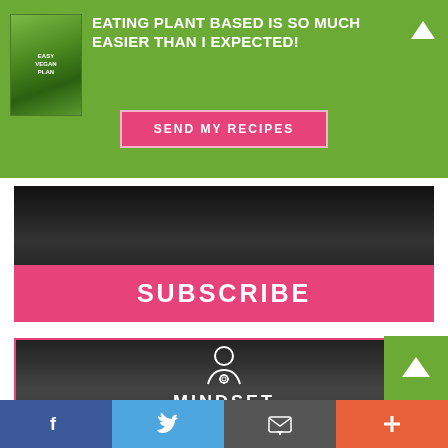EATING PLANT BASED IS SO MUCH EASIER THAN I EXPECTED!
SEND MY RECIPES
SUBSCRIBE
[Figure (logo): Mindset icon — person with gear symbol — white outline on dark background]
MINDSET
Program Your Thoughts To Make Your Best Body Choices Simple and Sustainable
[Figure (screenshot): Bottom social share bar with Facebook, Twitter, Email, and Plus buttons]